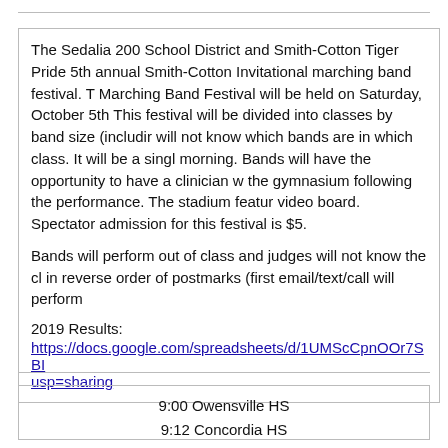The Sedalia 200 School District and Smith-Cotton Tiger Pride 5th annual Smith-Cotton Invitational marching band festival. T Marching Band Festival will be held on Saturday, October 5th This festival will be divided into classes by band size (includir will not know which bands are in which class. It will be a singl morning. Bands will have the opportunity to have a clinician w the gymnasium following the performance. The stadium featur video board. Spectator admission for this festival is $5.
Bands will perform out of class and judges will not know the cl in reverse order of postmarks (first email/text/call will perform
2019 Results:
https://docs.google.com/spreadsheets/d/1UMScCpnOOr7SBlusp=sharing
9:00 Owensville HS
9:12 Concordia HS